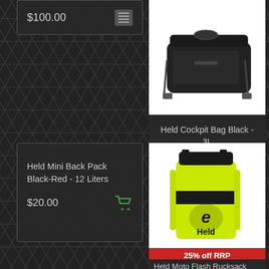$100.00
Held Cockpit Bag Black - 3L
$135.00
[Figure (photo): Held Cockpit Bag Black 3L product image, black bag on white background]
Held Mini Back Pack Black-Red - 12 Liters
$20.00
[Figure (photo): Held Moto Flash Rucksack in bright yellow/green with Held logo, black accents, 25% off RRP sale banner]
25% off RRP
Held Moto Flash Rucksack